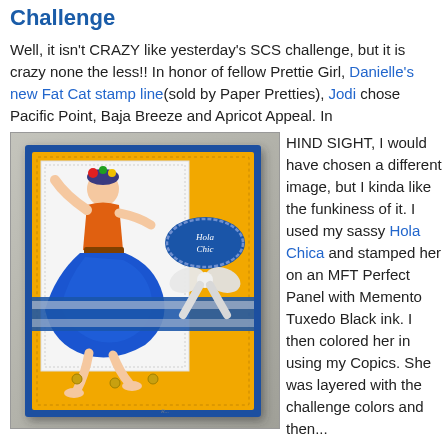Challenge
Well, it isn't CRAZY like yesterday's SCS challenge, but it is crazy none the less!! In honor of fellow Prettie Girl, Danielle's new Fat Cat stamp line(sold by Paper Pretties), Jodi chose Pacific Point, Baja Breeze and Apricot Appeal. In HIND SIGHT, I would have chosen a different image, but I kinda like the funkiness of it. I used my sassy Hola Chica and stamped her on an MFT Perfect Panel with Memento Tuxedo Black ink. I then colored her in using my Copics. She was layered with the challenge colors and then...
[Figure (photo): A handmade greeting card with blue and yellow/orange color scheme featuring a stamped/colored image of a dancing woman called Hola Chica in a blue skirt, with a decorative label tag reading 'Hola Chic' and a white bow ribbon.]